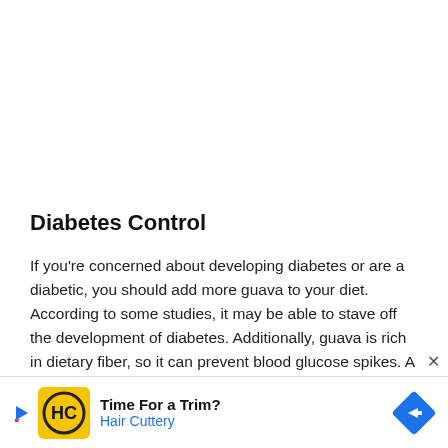Diabetes Control
If you're concerned about developing diabetes or are a diabetic, you should add more guava to your diet. According to some studies, it may be able to stave off the development of diabetes. Additionally, guava is rich in dietary fiber, so it can prevent blood glucose spikes. A healthy diet is important for the effective management of Type 2 diabetes, so if you're suffering from this condition,
[Figure (other): Advertisement banner for Hair Cuttery with play button icon, yellow/black HC logo, and blue diamond arrow icon. Text reads 'Time For a Trim? Hair Cuttery']